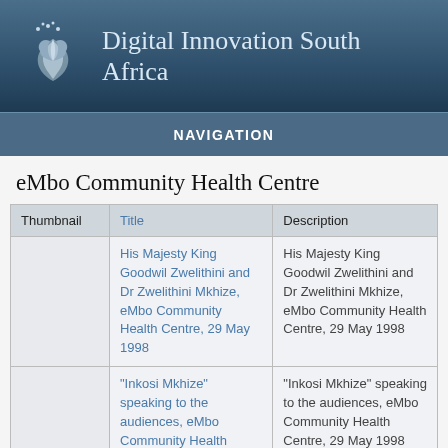Digital Innovation South Africa
NAVIGATION
eMbo Community Health Centre
| Thumbnail | Title | Description |
| --- | --- | --- |
|  | His Majesty King Goodwil Zwelithini and Dr Zwelithini Mkhize, eMbo Community Health Centre, 29 May 1998 | His Majesty King Goodwil Zwelithini and Dr Zwelithini Mkhize, eMbo Community Health Centre, 29 May 1998 |
|  | "Inkosi Mkhize" speaking to the audiences, eMbo Community Health | "Inkosi Mkhize" speaking to the audiences, eMbo Community Health Centre, 29 May 1998 |